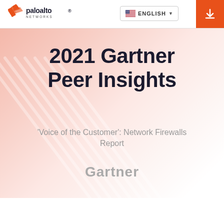Palo Alto Networks | ENGLISH | Download
2021 Gartner Peer Insights
'Voice of the Customer': Network Firewalls Report
Gartner